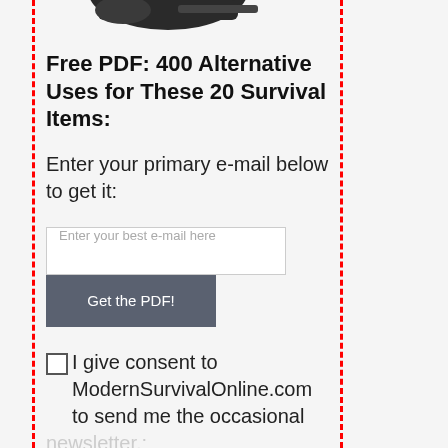[Figure (photo): Partial image of a survival tool/knife at the top of the page, partially cropped]
Free PDF: 400 Alternative Uses for These 20 Survival Items:
Enter your primary e-mail below to get it:
[Figure (screenshot): Email input field with placeholder text 'Enter your best e-mail here' and a 'Get the PDF!' button below it]
I give consent to ModernSurvivalOnline.com to send me the occasional newsletter.: